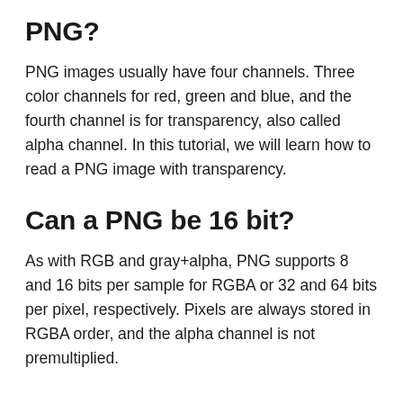PNG?
PNG images usually have four channels. Three color channels for red, green and blue, and the fourth channel is for transparency, also called alpha channel. In this tutorial, we will learn how to read a PNG image with transparency.
Can a PNG be 16 bit?
As with RGB and gray+alpha, PNG supports 8 and 16 bits per sample for RGBA or 32 and 64 bits per pixel, respectively. Pixels are always stored in RGBA order, and the alpha channel is not premultiplied.